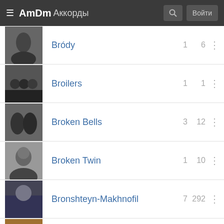AmDm Аккорды
Bródy
Broilers
Broken Bells
Broken Twin
Bronshteyn-Makhnofil
Bronski Beat
Broods